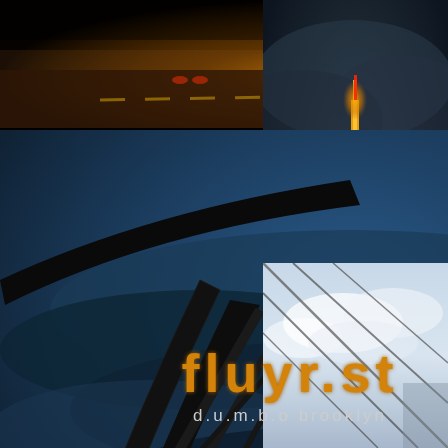[Figure (photo): Top-left highway/road photo with warm orange lighting at night]
[Figure (photo): Top-right dark cloudy sky with illuminated skyscraper/Empire State Building spire]
[Figure (photo): Large center-left photo of bridge arch underneath with dramatic blue cloudy sky and NYC skyline at night, watermarked 'fxm.2005']
- see larg
[Figure (photo): Bottom-right photo of blue sky with cable/wire lines]
fluyr.st
d.u.m.b.o brooklyn